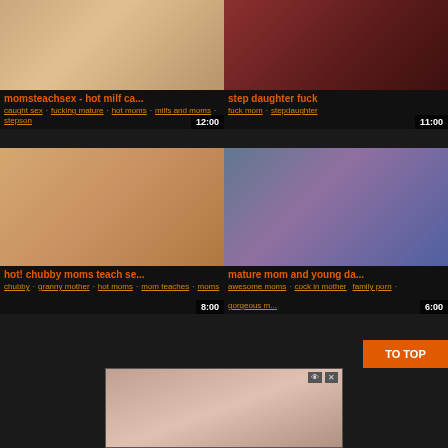[Figure (screenshot): Video thumbnail top-left: momsteachsex hot milf, 12:00 duration]
momsteachsex - hot milf ca...
caught sex · fucking mature · hot moms · milfs and moms · stepson
[Figure (screenshot): Video thumbnail top-right: step daughter fuck, 11:00 duration]
step daughter fuck
fuck mom · stepdaughter
[Figure (screenshot): Video thumbnail mid-left: hot! chubby moms teach se..., 8:00 duration]
hot! chubby moms teach se...
chubby · granny mother · hot moms · mom teaches · moms
[Figure (screenshot): Video thumbnail mid-right: mature mom and young da..., 6:00 duration]
mature mom and young da...
awesome moms · cock in mother · family porn · gorgeous m...
[Figure (screenshot): Bottom popup video thumbnail]
TO TOP